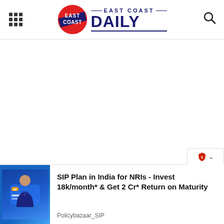East Coast Daily
[Figure (screenshot): East Coast Daily website screenshot showing the header with logo (East Coast Daily), grid menu icon on left, search icon on right, a horizontal divider, large white empty content area, and a bottom ad banner for Policybazaar_SIP: 'SIP Plan in India for NRIs - Invest 18k/month* & Get 2 Cr* Return on Maturity']
SIP Plan in India for NRIs - Invest 18k/month* & Get 2 Cr* Return on Maturity
Policybazaar_SIP